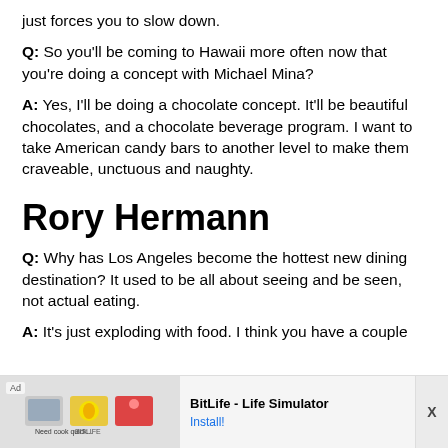just forces you to slow down.
Q: So you'll be coming to Hawaii more often now that you're doing a concept with Michael Mina?
A: Yes, I'll be doing a chocolate concept. It'll be beautiful chocolates, and a chocolate beverage program. I want to take American candy bars to another level to make them craveable, unctuous and naughty.
Rory Hermann
Q: Why has Los Angeles become the hottest new dining destination? It used to be all about seeing and be seen, not actual eating.
A: It's just exploding with food. I think you have a couple
[Figure (screenshot): Advertisement banner for BitLife - Life Simulator app, showing an Ad label, game screenshot thumbnails, BitLife logo, app name and Install button, with an X close button on the right.]